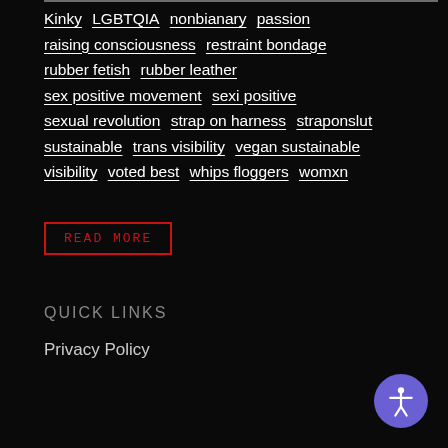Kinky   LGBTQIA   nonbianary   passion
raising consciousness   restraint bondage
rubber fetish   rubber leather
sex positive movement   sexi positive
sexual revolution   strap on harness   straponslut
sustainable   trans visibility   vegan sustainable
visibility   voted best   whips floggers   womxn
READ MORE
Quick Links
Privacy Policy